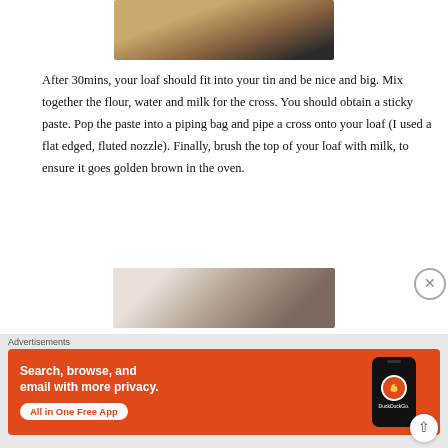[Figure (photo): Top portion of a bread loaf dough on a dark floured surface]
After 30mins, your loaf should fit into your tin and be nice and big. Mix together the flour, water and milk for the cross. You should obtain a sticky paste. Pop the paste into a piping bag and pipe a cross onto your loaf (I used a flat edged, fluted nozzle). Finally, brush the top of your loaf with milk, to ensure it goes golden brown in the oven.
[Figure (photo): Person's hand holding or pressing onto a dark baking tin]
Advertisements
[Figure (screenshot): DuckDuckGo advertisement banner: Search, browse, and email with more privacy. All in One Free App. Shows a phone with DuckDuckGo logo.]